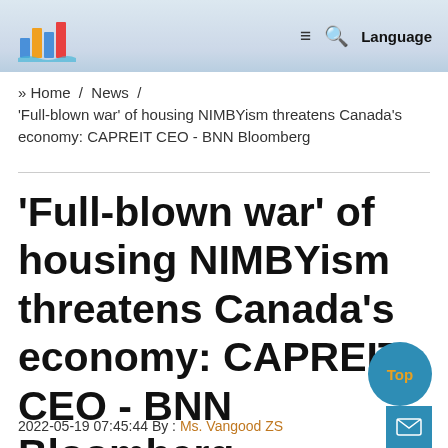≡ Q Language
» Home / News / 'Full-blown war' of housing NIMBYism threatens Canada's economy: CAPREIT CEO - BNN Bloomberg
'Full-blown war' of housing NIMBYism threatens Canada's economy: CAPREIT CEO - BNN Bloomberg
2022-05-19 07:45:44 By : Ms. Vangood ZS